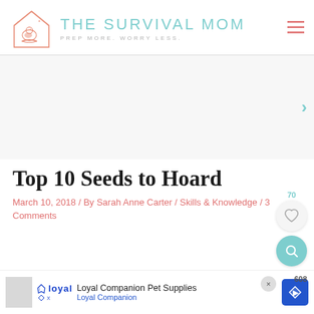THE SURVIVAL MOM — PREP MORE. WORRY LESS.
[Figure (other): Carousel/advertisement area with a right-pointing arrow navigation chevron in teal]
Top 10 Seeds to Hoard
March 10, 2018 / By Sarah Anne Carter / Skills & Knowledge / 3 Comments
[Figure (other): Bottom advertisement bar for Loyal Companion Pet Supplies with logo, navigation arrow icon, close button, and count 608]